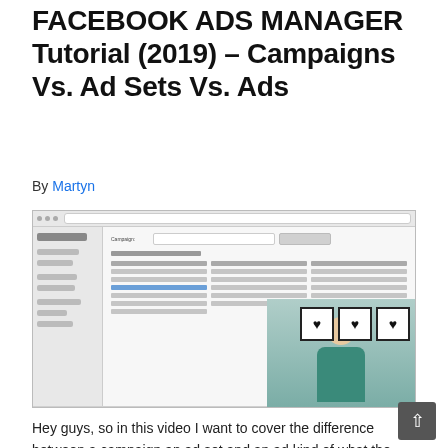FACEBOOK ADS MANAGER Tutorial (2019) – Campaigns Vs. Ad Sets Vs. Ads
By Martyn
[Figure (screenshot): Screenshot of Facebook Ads Manager interface showing campaign creation page with marketing objectives grid, overlaid with a video thumbnail of a presenter standing in front of wall art with heart-shaped frames.]
Hey guys, so in this video I want to cover the difference between a campaign an ad set and an ad kind of what the differences are of all those and Also kind of talk about the different campaign marketing objectives and when you should use each one What they do what they mean all...